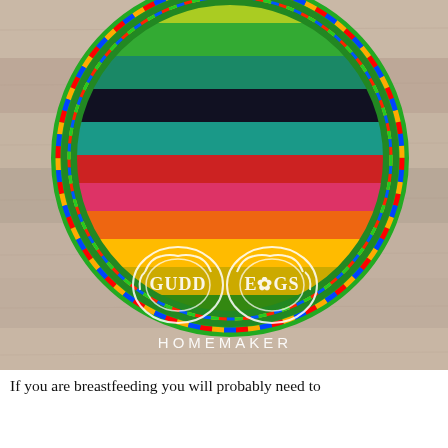[Figure (photo): A circular rainbow-striped fabric nursing pad with colorful serged edges, placed on a rustic wood background. A white 'Gudd Eggs Homemaker' logo watermark is overlaid at the bottom of the image.]
If you are breastfeeding you will probably need to